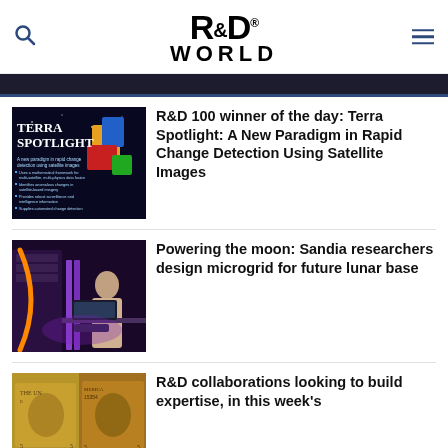[Figure (logo): R&D World magazine logo with search and hamburger menu icons]
R&D 100 winner of the day: Terra Spotlight: A New Paradigm in Rapid Change Detection Using Satellite Images
Powering the moon: Sandia researchers design microgrid for future lunar base
R&D collaborations looking to build expertise, in this week's